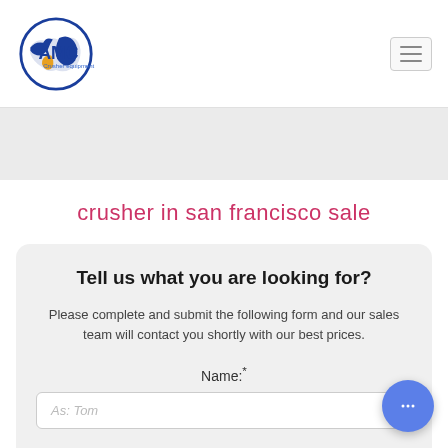[Figure (logo): AMC Crusher equipment globe logo with blue circle and stylized continents, text 'AMC' in large blue letters and 'Crusher equipment' below]
[Figure (other): Hamburger menu button (three horizontal lines) in top right corner]
[Figure (other): Light grey banner background strip]
crusher in san francisco sale
Tell us what you are looking for?
Please complete and submit the following form and our sales team will contact you shortly with our best prices.
Name:*
As: Tom